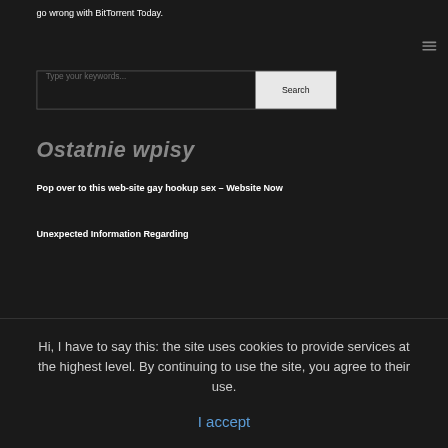go wrong with BitTorrent Today.
[Figure (other): Hamburger menu icon (three horizontal lines)]
Type your keywords...
Search
Ostatnie wpisy
Pop over to this web-site gay hookup sex – Website Now
Unexpected Information Regarding
Hi, I have to say this: the site uses cookies to provide services at the highest level. By continuing to use the site, you agree to their use.
I accept